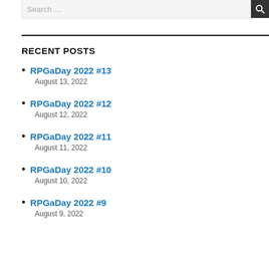Search ...
RECENT POSTS
RPGaDay 2022 #13
August 13, 2022
RPGaDay 2022 #12
August 12, 2022
RPGaDay 2022 #11
August 11, 2022
RPGaDay 2022 #10
August 10, 2022
RPGaDay 2022 #9
August 9, 2022